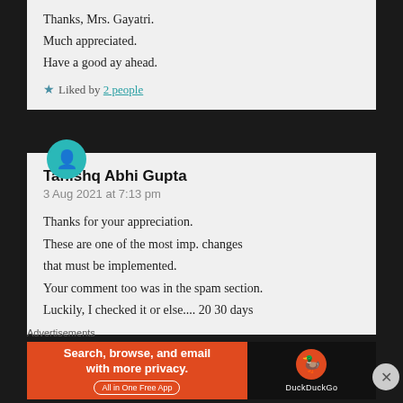Thanks, Mrs. Gayatri.
Much appreciated.
Have a good ay ahead.
★ Liked by 2 people
Tanishq Abhi Gupta
3 Aug 2021 at 7:13 pm
Thanks for your appreciation.
These are one of the most imp. changes that must be implemented.
Your comment too was in the spam section.
Luckily, I checked it or else.... 20 30 days
Advertisements
[Figure (screenshot): DuckDuckGo advertisement banner: 'Search, browse, and email with more privacy. All in One Free App' with DuckDuckGo logo on dark background.]